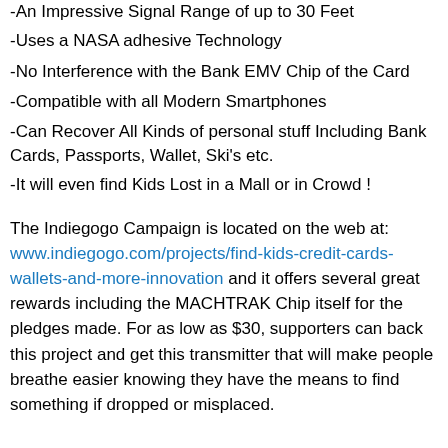-An Impressive Signal Range of up to 30 Feet
-Uses a NASA adhesive Technology
-No Interference with the Bank EMV Chip of the Card
-Compatible with all Modern Smartphones
-Can Recover All Kinds of personal stuff Including Bank Cards, Passports, Wallet, Ski's etc.
-It will even find Kids Lost in a Mall or in Crowd !
The Indiegogo Campaign is located on the web at: www.indiegogo.com/projects/find-kids-credit-cards-wallets-and-more-innovation and it offers several great rewards including the MACHTRAK Chip itself for the pledges made. For as low as $30, supporters can back this project and get this transmitter that will make people breathe easier knowing they have the means to find something if dropped or misplaced.